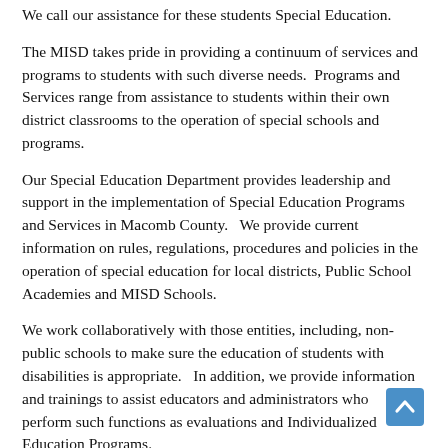We call our assistance for these students Special Education.
The MISD takes pride in providing a continuum of services and programs to students with such diverse needs.  Programs and Services range from assistance to students within their own district classrooms to the operation of special schools and programs.
Our Special Education Department provides leadership and support in the implementation of Special Education Programs and Services in Macomb County.   We provide current information on rules, regulations, procedures and policies in the operation of special education for local districts, Public School Academies and MISD Schools.
We work collaboratively with those entities, including, non-public schools to make sure the education of students with disabilities is appropriate.   In addition, we provide information and trainings to assist educators and administrators who perform such functions as evaluations and Individualized Education Programs.
Our website is divided accordingly; Special Education Information, Programs and Services, Resources and Re... and Parents.